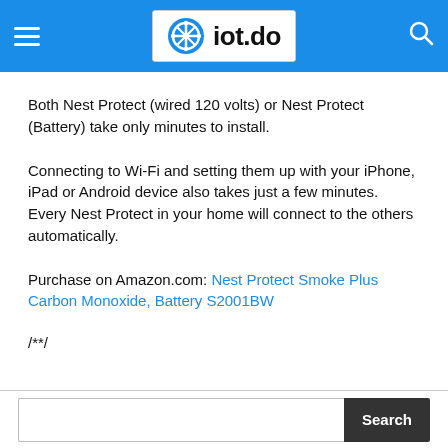iot.do
Both Nest Protect (wired 120 volts) or Nest Protect (Battery) take only minutes to install.
Connecting to Wi-Fi and setting them up with your iPhone, iPad or Android device also takes just a few minutes. Every Nest Protect in your home will connect to the others automatically.
Purchase on Amazon.com: Nest Protect Smoke Plus Carbon Monoxide, Battery S2001BW
/**/